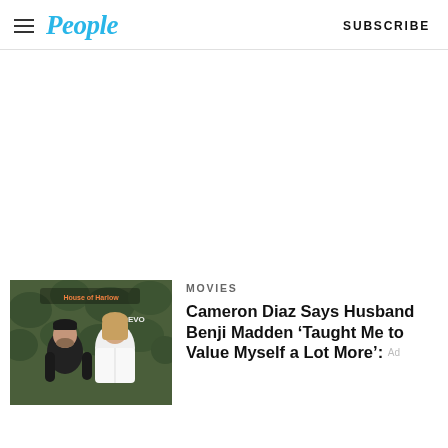People  SUBSCRIBE
[Figure (other): Large white advertisement area (blank/white space)]
[Figure (photo): Photo of Benji Madden (wearing black leather jacket and cap) and Cameron Diaz (wearing white blazer) posing together in front of a green plant wall with signage reading 'House of Harlow' and 'REVO']
MOVIES
Cameron Diaz Says Husband Benji Madden ‘Taught Me to Value Myself a Lot More’: